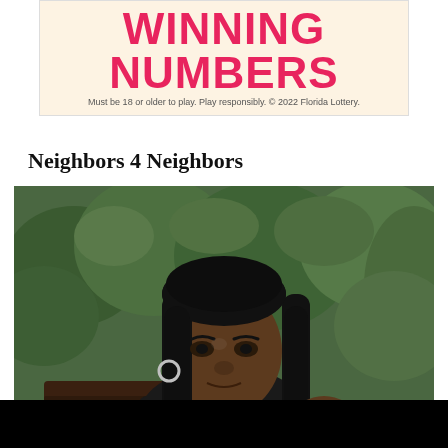[Figure (advertisement): Florida Lottery advertisement banner with 'WINNING NUMBERS' text in large pink/red bold font on a light cream background, with disclaimer text: 'Must be 18 or older to play. Play responsibly. © 2022 Florida Lottery.']
Neighbors 4 Neighbors
[Figure (photo): A woman with long black hair and hoop earrings, seated outdoors in front of green leafy plants/bushes. The image is partially cropped at the bottom by a black bar.]